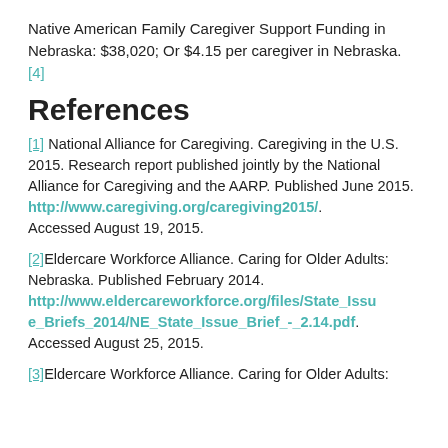Native American Family Caregiver Support Funding in Nebraska: $38,020; Or $4.15 per caregiver in Nebraska. [4]
References
[1] National Alliance for Caregiving. Caregiving in the U.S. 2015. Research report published jointly by the National Alliance for Caregiving and the AARP. Published June 2015. http://www.caregiving.org/caregiving2015/. Accessed August 19, 2015.
[2] Eldercare Workforce Alliance. Caring for Older Adults: Nebraska. Published February 2014. http://www.eldercareworkforce.org/files/State_Issue_Briefs_2014/NE_State_Issue_Brief_-_2.14.pdf. Accessed August 25, 2015.
[3] Eldercare Workforce Alliance. Caring for Older Adults: